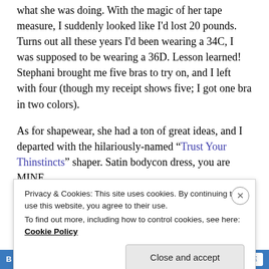what she was doing. With the magic of her tape measure, I suddenly looked like I'd lost 20 pounds. Turns out all these years I'd been wearing a 34C, I was supposed to be wearing a 36D. Lesson learned! Stephani brought me five bras to try on, and I left with four (though my receipt shows five; I got one bra in two colors).
As for shapewear, she had a ton of great ideas, and I departed with the hilariously-named "Trust Your Thinstincts" shaper. Satin bodycon dress, you are MINE.
So, yeah: bras. Even if you're a pretty seasoned fashionista, the likelihood that you can eyeball your bra size is pretty
Privacy & Cookies: This site uses cookies. By continuing to use this website, you agree to their use.
To find out more, including how to control cookies, see here: Cookie Policy